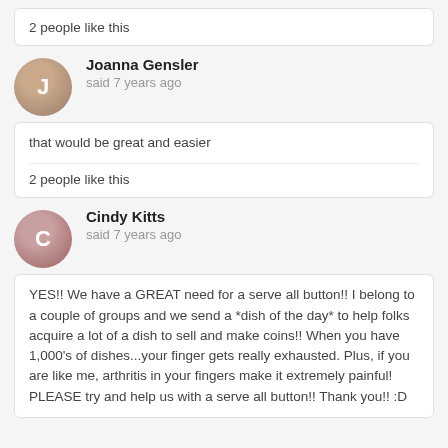2 people like this
Joanna Gensler said 7 years ago
that would be great and easier
2 people like this
Cindy Kitts said 7 years ago
YES!!  We have a GREAT need for a serve all button!!  I belong to a couple of groups and we send a *dish of the day* to help folks acquire a lot of a dish to sell and make coins!!  When you have 1,000's of dishes...your finger gets really exhausted.  Plus, if you are like me, arthritis in your fingers make it extremely painful!  PLEASE try and help us with a serve all button!!  Thank you!!  :D